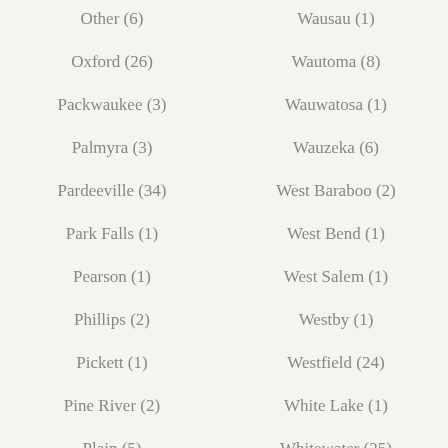Other (6)
Wausau (1)
Oxford (26)
Wautoma (8)
Packwaukee (3)
Wauwatosa (1)
Palmyra (3)
Wauzeka (6)
Pardeeville (34)
West Baraboo (2)
Park Falls (1)
West Bend (1)
Pearson (1)
West Salem (1)
Phillips (2)
Westby (1)
Pickett (1)
Westfield (24)
Pine River (2)
White Lake (1)
Plain (5)
Whitewater (25)